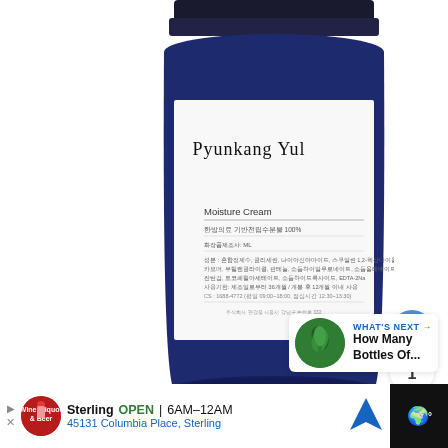[Figure (photo): Pyunkang Yul Moisture Cream product jar — a dark navy blue cylindrical jar with a white label showing the brand name 'Pyunkang Yul' in serif font and 'Moisture Cream' with Korean text below. The jar has a dark lid partially visible at the top.]
[Figure (screenshot): UI elements: blue heart/like button showing count of 1, a share button, a 'WHAT'S NEXT' panel with a thumbnail and title 'How Many Bottles Of...', and an advertisement bar for Sterling liquor store showing OPEN 6AM-12AM and address 45131 Columbia Place, Sterling]
1
WHAT'S NEXT → How Many Bottles Of...
Sterling  OPEN  6AM–12AM  45131 Columbia Place, Sterling